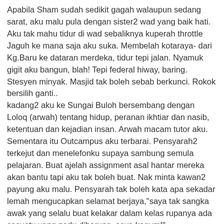Apabila Sham sudah sedikit gagah walaupun sedang sarat, aku malu pula dengan sister2 wad yang baik hati. Aku tak mahu tidur di wad sebaliknya kuperah throttle Jaguh ke mana saja aku suka. Membelah kotaraya- dari Kg.Baru ke dataran merdeka, tidur tepi jalan. Nyamuk gigit aku bangun, blah! Tepi federal hiway, baring. Stesyen minyak. Masjid tak boleh sebab berkunci. Rokok bersilih ganti.. kadang2 aku ke Sungai Buloh bersembang dengan Loloq (arwah) tentang hidup, peranan ikhtiar dan nasib, ketentuan dan kejadian insan. Arwah macam tutor aku. Sementara itu Outcampus aku terbarai. Pensyarah2 terkejut dan menelefonku supaya sambung semula pelajaran. Buat ajelah assignment asal hantar mereka akan bantu tapi aku tak boleh buat. Nak minta kawan2 payung aku malu. Pensyarah tak boleh kata apa sekadar lemah mengucapkan selamat berjaya,"saya tak sangka awak yang selalu buat kelakar dalam kelas rupanya ada sesuatu yang perlu diharung, saya kagum!".. Ah! Apa pilihannya? Aku sedar akan hakikat kejadian insan dan aku tak sedih langsung. Ada jugak kawan2 aku datang melawat dan menangis tapi aku selalu berkata,"jangan menangis! Belum